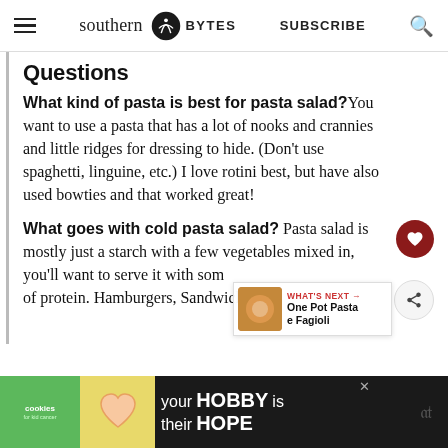southern BYTES | SUBSCRIBE
Questions
What kind of pasta is best for pasta salad? You want to use a pasta that has a lot of nooks and crannies and little ridges for dressing to hide. (Don't use spaghetti, linguine, etc.) I love rotini best, but have also used bowties and that worked great!
What goes with cold pasta salad? Pasta salad is mostly just a starch with a few vegetables mixed in, you'll want to serve it with some of protein. Hamburgers, Sandwiches,
WHAT'S NEXT → One Pot Pasta e Fagioli
[Figure (screenshot): Advertisement banner: cookies for kid cancer logo, heart-shaped cookie image, text 'your HOBBY is their HOPE']